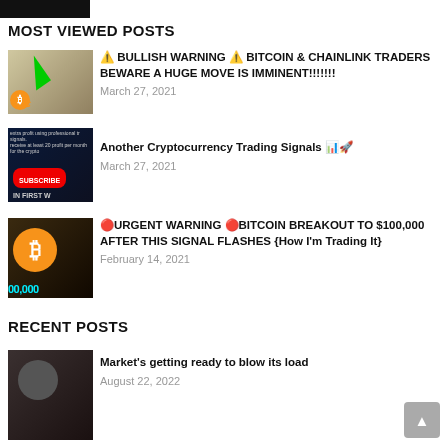[Figure (logo): Dark logo bar at top left]
MOST VIEWED POSTS
[Figure (photo): Thumbnail image with person pointing at green arrow and Bitcoin logo]
⚠️ BULLISH WARNING ⚠️ BITCOIN & CHAINLINK TRADERS BEWARE A HUGE MOVE IS IMMINENT!!!!!!!
March 27, 2021
[Figure (photo): Thumbnail showing cryptocurrency trading signals graphic with subscribe button]
Another Cryptocurrency Trading Signals 📊🚀
March 27, 2021
[Figure (photo): Thumbnail showing shocked person with Bitcoin logo and 100,000 text]
🔴URGENT WARNING 🔴BITCOIN BREAKOUT TO $100,000 AFTER THIS SIGNAL FLASHES {How I'm Trading It}
February 14, 2021
RECENT POSTS
[Figure (photo): Thumbnail of man looking at camera]
Market's getting ready to blow its load
August 22, 2022